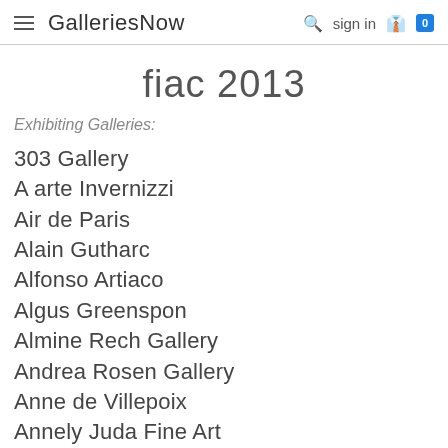GalleriesNow   sign in   0
fiac 2013
Exhibiting Galleries:
303 Gallery
A arte Invernizzi
Air de Paris
Alain Gutharc
Alfonso Artiaco
Algus Greenspon
Almine Rech Gallery
Andrea Rosen Gallery
Anne de Villepoix
Annely Juda Fine Art
Applicat-Prazan